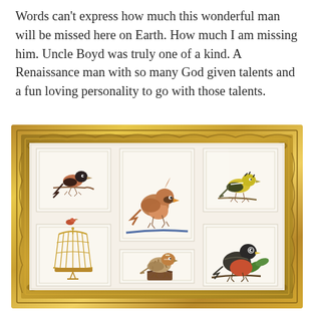Words can't express how much this wonderful man will be missed here on Earth. How much I am missing him. Uncle Boyd was truly one of a kind. A Renaissance man with so many God given talents and a fun loving personality to go with those talents.
[Figure (photo): A photograph of a framed artwork featuring six watercolor bird illustrations arranged in a 3x2 grid within an ornate gold frame with a cream/white mat. The birds include: top row - a dark-headed bird on a branch, a female cardinal on a blue branch, a yellow-streaked bird; bottom row - a small bird on a gold birdcage, a spotted sparrow on a stump, a robin with red breast on a green leafy branch.]